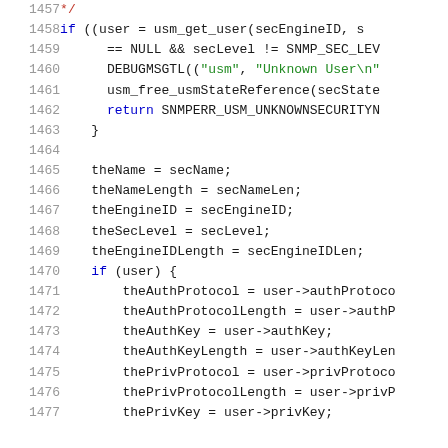[Figure (screenshot): Source code listing (C language) showing lines 1457-1477 of a file. Line numbers in gray on the left, code on the right with syntax highlighting: keywords in blue, strings in green, comments/special tokens in red.]